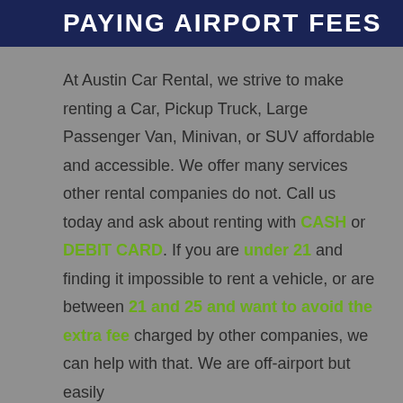PAYING AIRPORT FEES
At Austin Car Rental, we strive to make renting a Car, Pickup Truck, Large Passenger Van, Minivan, or SUV affordable and accessible. We offer many services other rental companies do not. Call us today and ask about renting with CASH or DEBIT CARD. If you are under 21 and finding it impossible to rent a vehicle, or are between 21 and 25 and want to avoid the extra fee charged by other companies, we can help with that. We are off-airport but easily